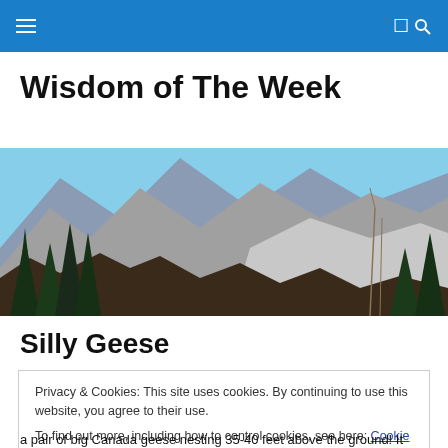Navigation bar with hamburger menu and search icon
Wisdom of The Week
[Figure (photo): Mountain landscape with rocky peaks, evergreen trees in the foreground and blue sky]
Silly Geese
Privacy & Cookies: This site uses cookies. By continuing to use this website, you agree to their use.
To find out more, including how to control cookies, see here: Cookie Policy
Close and accept
a pair of big Canada geese nesting 35-40 feet above the ground! It